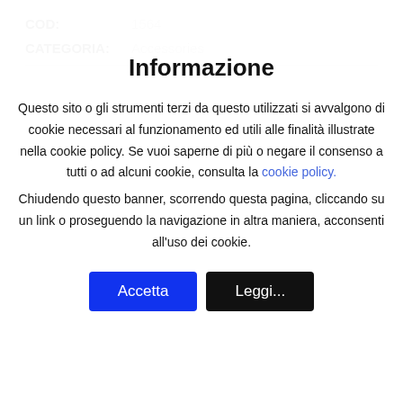COD: 1564
CATEGORIA: Accessories
Informazione
Questo sito o gli strumenti terzi da questo utilizzati si avvalgono di cookie necessari al funzionamento ed utili alle finalità illustrate nella cookie policy. Se vuoi saperne di più o negare il consenso a tutti o ad alcuni cookie, consulta la cookie policy.
Chiudendo questo banner, scorrendo questa pagina, cliccando su un link o proseguendo la navigazione in altra maniera, acconsenti all'uso dei cookie.
Accetta
Leggi...